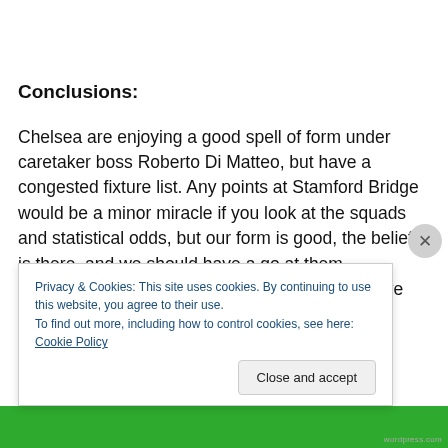Conclusions:
Chelsea are enjoying a good spell of form under caretaker boss Roberto Di Matteo, but have a congested fixture list. Any points at Stamford Bridge would be a minor miracle if you look at the squads and statistical odds, but our form is good, the belief is there, and we should have a go at them. Manchester United remain the only team we have never
Privacy & Cookies: This site uses cookies. By continuing to use this website, you agree to their use.
To find out more, including how to control cookies, see here: Cookie Policy
Close and accept